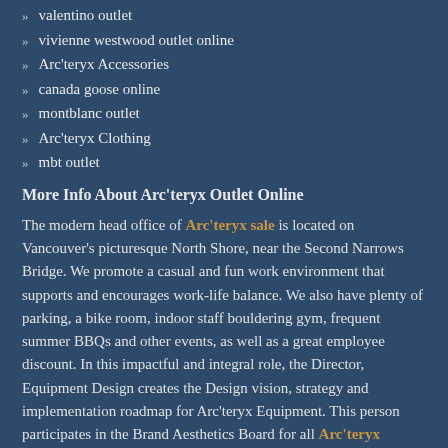valentino outlet
vivienne westwood outlet online
Arc'teryx Accessories
canada goose online
montblanc outlet
Arc'teryx Clothing
mbt outlet
More Info About Arc'teryx Outlet Online
The modern head office of Arc'teryx sale is located on Vancouver's picturesque North Shore, near the Second Narrows Bridge. We promote a casual and fun work environment that supports and encourages work-life balance. We also have plenty of parking, a bike room, indoor staff bouldering gym, frequent summer BBQs and other events, as well as a great employee discount. In this impactful and integral role, the Director, Equipment Design creates the Design vision, strategy and implementation roadmap for Arc'teryx Equipment. This person participates in the Brand Aesthetics Board for all Arc'teryx Jackets. In this leadership role, this person will direct and manage